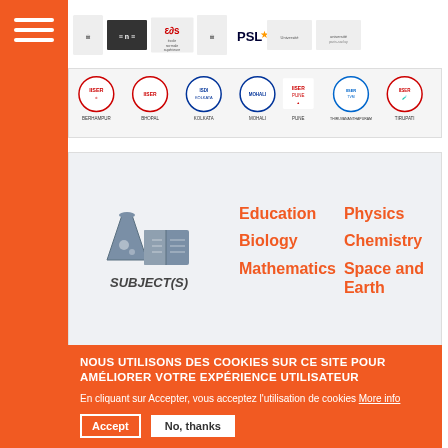[Figure (logo): Top row of institution logos including ENS, PSL, and university logos]
[Figure (logo): Second row of IISER institution logos: Berhampur, Bhopal, Kolkata, Mohali, Pune, Thiruvananthapuram, Tirupati]
[Figure (infographic): SUBJECT(S) panel with science/book icon and orange subject labels: Education, Physics, Biology, Chemistry, Mathematics, Space and Earth]
NOUS UTILISONS DES COOKIES SUR CE SITE POUR AMÉLIORER VOTRE EXPÉRIENCE UTILISATEUR
En cliquant sur Accepter, vous acceptez l'utilisation de cookies More info